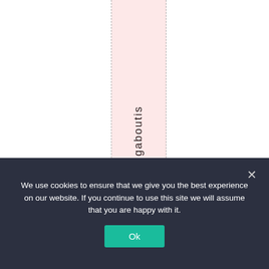uaretal king about is
We use cookies to ensure that we give you the best experience on our website. If you continue to use this site we will assume that you are happy with it.